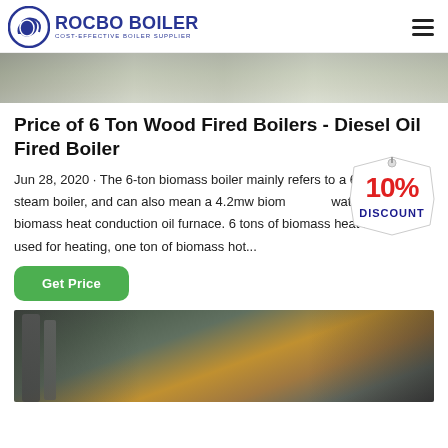ROCBO BOILER — COST-EFFECTIVE BOILER SUPPLIER
[Figure (photo): Top portion of a boiler facility interior image, partially visible at top of page]
Price of 6 Ton Wood Fired Boilers - Diesel Oil Fired Boiler
Jun 28, 2020 · The 6-ton biomass boiler mainly refers to a 6-ton biomass steam boiler, and can also mean a 4.2mw biomass hot water boiler or a biomass heat conduction oil furnace. 6 tons of biomass heat boiler, if used for heating, one ton of biomass hot...
[Figure (infographic): 10% DISCOUNT badge/sticker overlaid on the text]
Get Price
[Figure (photo): Industrial boiler installation with large pipes and crane in background]